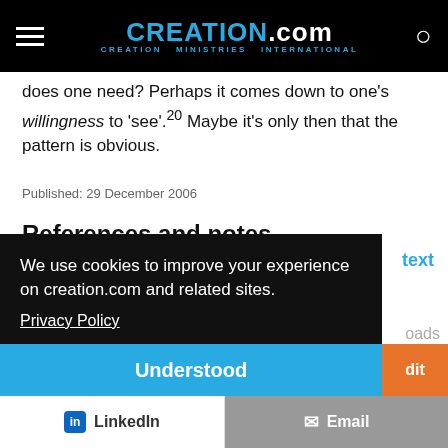CREATION.com — CREATION MINISTRIES INTERNATIONAL
does one need? Perhaps it comes down to one's willingness to 'see'.20 Maybe it's only then that the pattern is obvious.
Published: 29 December 2006
References and notes
1. Colour pattern on insect's wings preserved in fossil, newscientist.com, New Scientist
We use cookies to improve your experience on creation.com and related sites.
Privacy Policy